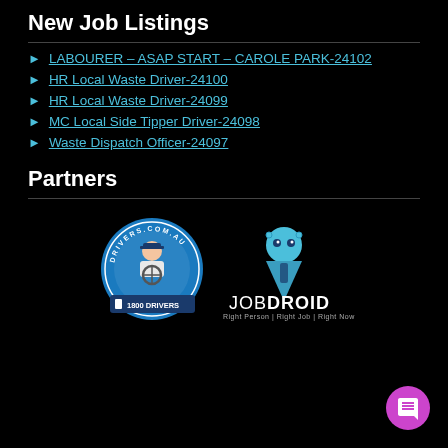New Job Listings
LABOURER – ASAP START – CAROLE PARK-24102
HR Local Waste Driver-24100
HR Local Waste Driver-24099
MC Local Side Tipper Driver-24098
Waste Dispatch Officer-24097
Partners
[Figure (logo): Drivers.com.au circular logo with driver illustration and 1800 DRIVERS text]
[Figure (logo): JobDroid logo with robot mascot and tagline Right Person | Right Job | Right Now]